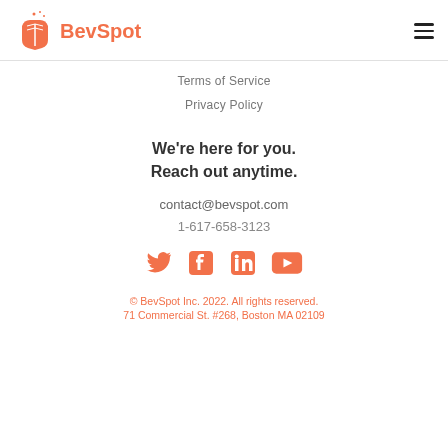BevSpot
Terms of Service
Privacy Policy
We're here for you.
Reach out anytime.
contact@bevspot.com
1-617-658-3123
[Figure (other): Social media icons: Twitter, Facebook, LinkedIn, YouTube — all in coral/orange color]
© BevSpot Inc. 2022. All rights reserved.
71 Commercial St. #268, Boston MA 02109